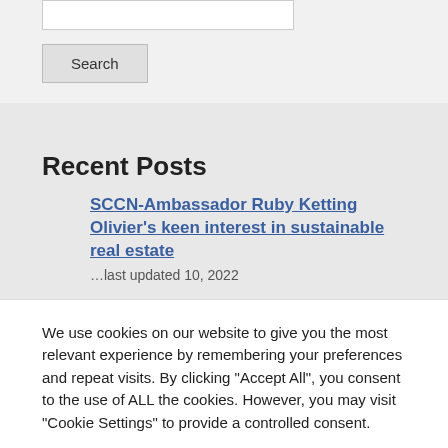[Figure (screenshot): Search input box (text field, white background, border)]
Search
Recent Posts
SCCN-Ambassador Ruby Ketting Olivier's keen interest in sustainable real estate
We use cookies on our website to give you the most relevant experience by remembering your preferences and repeat visits. By clicking "Accept All", you consent to the use of ALL the cookies. However, you may visit "Cookie Settings" to provide a controlled consent.
Cookie Settings
Accept All